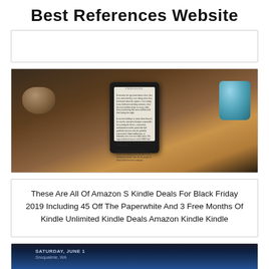Best References Website
[Figure (other): Empty card placeholder area]
[Figure (photo): A Kindle e-reader device displaying a book prologue, sitting on a wooden desk next to a wooden bowl and a blue speckled ceramic mug]
These Are All Of Amazon S Kindle Deals For Black Friday 2019 Including 45 Off The Paperwhite And 3 Free Months Of Kindle Unlimited Kindle Deals Amazon Kindle Kindle
[Figure (screenshot): Partial screenshot showing a phone screen with text: SATURDAY, JUNE 1, Snoqualmie, WA]